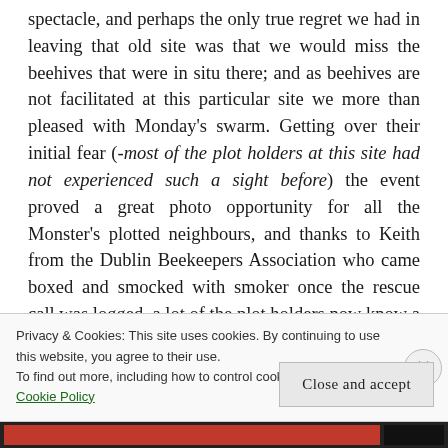spectacle, and perhaps the only true regret we had in leaving that old site was that we would miss the beehives that were in situ there; and as beehives are not facilitated at this particular site we more than pleased with Monday's swarm. Getting over their initial fear (-most of the plot holders at this site had not experienced such a sight before) the event proved a great photo opportunity for all the Monster's plotted neighbours, and thanks to Keith from the Dublin Beekeepers Association who came boxed and smocked with smoker once the rescue call was logged, a lot of the plot holders now know a good deal more about honey bees and the swarming process, and hopefully will have gained a little more appreciation for these wonders of the natural world.
Privacy & Cookies: This site uses cookies. By continuing to use this website, you agree to their use. To find out more, including how to control cookies, see here: Cookie Policy